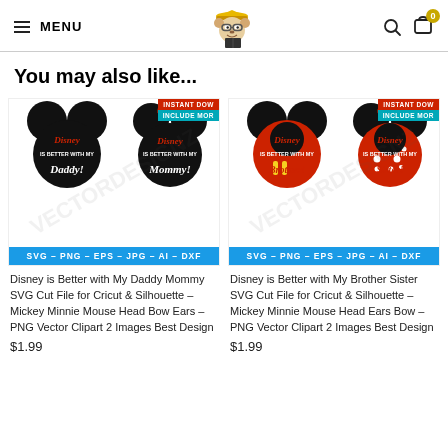MENU | Logo | Search | Cart (0)
You may also like...
[Figure (illustration): Product thumbnail showing Disney is Better with My Daddy Mommy SVG cut file with Mickey and Minnie Mouse head designs. Shows SVG - PNG - EPS - JPG - AI - DXF file format bar. Has INSTANT DOWNLOAD and INCLUDE MORE badges.]
Disney is Better with My Daddy Mommy SVG Cut File for Cricut & Silhouette – Mickey Minnie Mouse Head Bow Ears – PNG Vector Clipart 2 Images Best Design
$1.99
[Figure (illustration): Product thumbnail showing Disney is Better with My Brother Sister SVG cut file with Mickey and Minnie Mouse head designs in red. Shows SVG - PNG - EPS - JPG - AI - DXF file format bar. Has INSTANT DOWNLOAD and INCLUDE MORE badges.]
Disney is Better with My Brother Sister SVG Cut File for Cricut & Silhouette – Mickey Minnie Mouse Head Ears Bow – PNG Vector Clipart 2 Images Best Design
$1.99